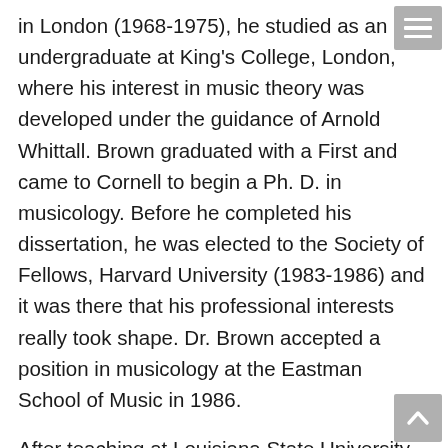in London (1968-1975), he studied as an undergraduate at King's College, London, where his interest in music theory was developed under the guidance of Arnold Whittall. Brown graduated with a First and came to Cornell to begin a Ph. D. in musicology. Before he completed his dissertation, he was elected to the Society of Fellows, Harvard University (1983-1986) and it was there that his professional interests really took shape. Dr. Brown accepted a position in musicology at the Eastman School of Music in 1986.
After teaching at Louisiana State University for a few years, Professor Brown returned to Eastman in 1997. Since then, he has also served as a faculty member at the Mannes Institute for Advanced